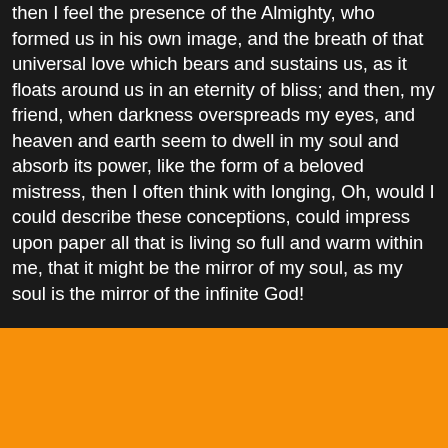then I feel the presence of the Almighty, who formed us in his own image, and the breath of that universal love which bears and sustains us, as it floats around us in an eternity of bliss; and then, my friend, when darkness overspreads my eyes, and heaven and earth seem to dwell in my soul and absorb its power, like the form of a beloved mistress, then I often think with longing, Oh, would I could describe these conceptions, could impress upon paper all that is living so full and warm within me, that it might be the mirror of my soul, as my soul is the mirror of the infinite God!

O my friend — but it is too much for my strength — I sink under the weight of the splendor of these visions! A wonderful serenity has taken possession of my entire soul, like these sweet mornings of spring which I enjoy with my whole heart. I am